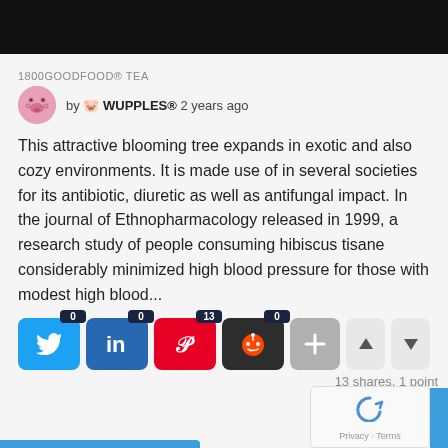1800GOODFOOD® TEA
by 🐷 WUPPLES® 2 years ago
This attractive blooming tree expands in exotic and also cozy environments. It is made use of in several societies for its antibiotic, diuretic as well as antifungal impact. In the journal of Ethnopharmacology released in 1999, a research study of people consuming hibiscus tisane considerably minimized high blood pressure for those with modest high blood...
[Figure (screenshot): Social share buttons: Twitter (0), LinkedIn (0), Pinterest (13), Reddit (0), Add (+), Up arrow, Down arrow]
13 shares, 1 point
[Figure (screenshot): reCAPTCHA widget with Privacy · Terms text]